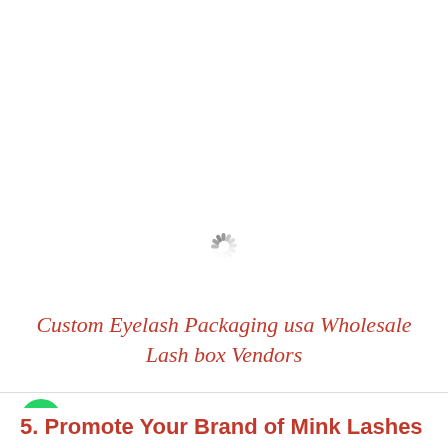[Figure (other): Loading spinner / activity indicator graphic centered on the page]
Custom Eyelash Packaging usa Wholesale Lash box Vendors
[Figure (logo): WhatsApp icon (green circle with phone handset) followed by text 'WhatsApp us get a free quote' in a rounded grey pill]
5. Promote Your Brand of Mink Lashes